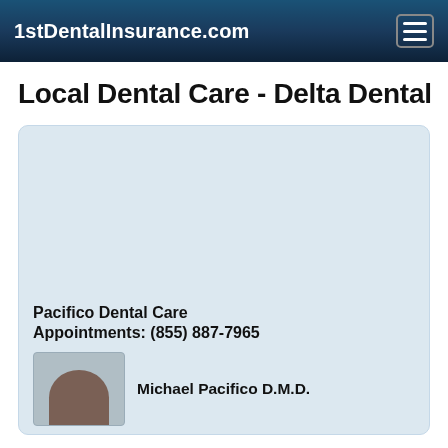1stDentalInsurance.com
Local Dental Care - Delta Dental
[Figure (other): Dental provider card with light blue background, showing a placeholder map or content area]
Pacifico Dental Care
Appointments: (855) 887-7965
Michael Pacifico D.M.D.